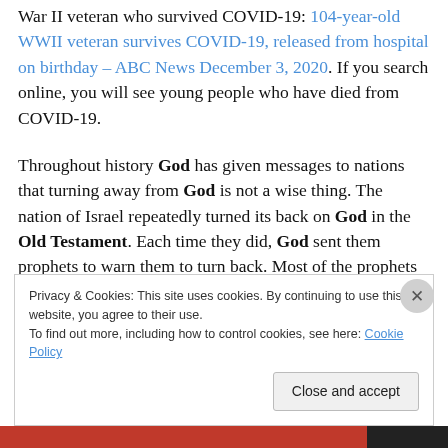War II veteran who survived COVID-19: 104-year-old WWII veteran survives COVID-19, released from hospital on birthday – ABC News December 3, 2020. If you search online, you will see young people who have died from COVID-19.
Throughout history God has given messages to nations that turning away from God is not a wise thing. The nation of Israel repeatedly turned its back on God in the Old Testament. Each time they did, God sent them prophets to warn them to turn back. Most of the prophets were
Privacy & Cookies: This site uses cookies. By continuing to use this website, you agree to their use.
To find out more, including how to control cookies, see here: Cookie Policy